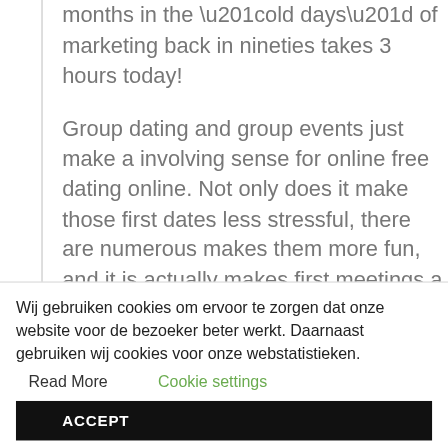months in the “old days” of marketing back in nineties takes 3 hours today!
Group dating and group events just make a involving sense for online free dating online. Not only does it make those first dates less stressful, there are numerous makes them more fun, and it is actually makes first meetings a lot safer idea.
Many of the aforementioned devices have
Wij gebruiken cookies om ervoor te zorgen dat onze website voor de bezoeker beter werkt. Daarnaast gebruiken wij cookies voor onze webstatistieken.  Read More  Cookie settings
ACCEPT